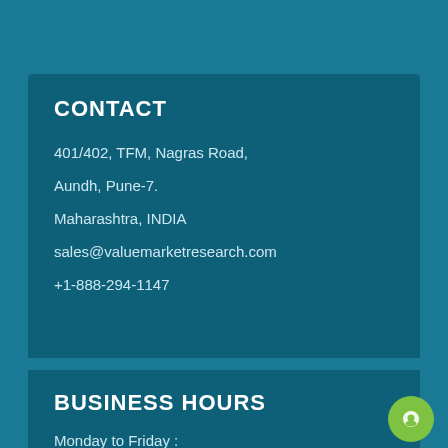CONTACT
401/402, TFM, Nagras Road,
Aundh, Pune-7.
Maharashtra, INDIA
sales@valuemarketresearch.com
+1-888-294-1147
BUSINESS HOURS
Monday to Friday :
9 A.M IST to 6 P.M IST